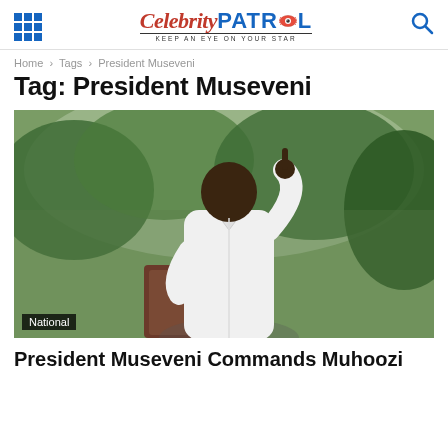Celebrity PATROL — KEEP AN EYE ON YOUR STAR
Home > Tags > President Museveni
Tag: President Museveni
[Figure (photo): President Museveni speaking at a podium outdoors, wearing a white shirt, gesturing with one finger raised, with green foliage in the background. A 'National' badge is visible in the lower left corner.]
President Museveni Commands Muhoozi